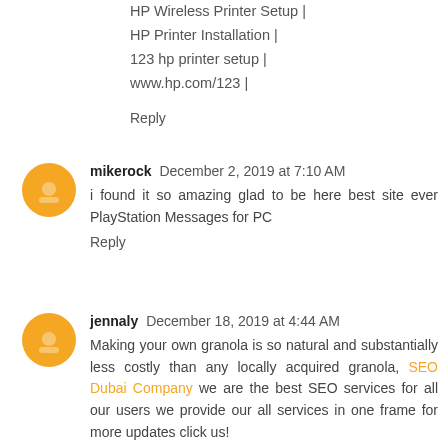HP Wireless Printer Setup |
HP Printer Installation |
123 hp printer setup |
www.hp.com/123 |
Reply
mikerock  December 2, 2019 at 7:10 AM
i found it so amazing glad to be here best site ever PlayStation Messages for PC
Reply
jennaly  December 18, 2019 at 4:44 AM
Making your own granola is so natural and substantially less costly than any locally acquired granola, SEO Dubai Company we are the best SEO services for all our users we provide our all services in one frame for more updates click us!
Reply